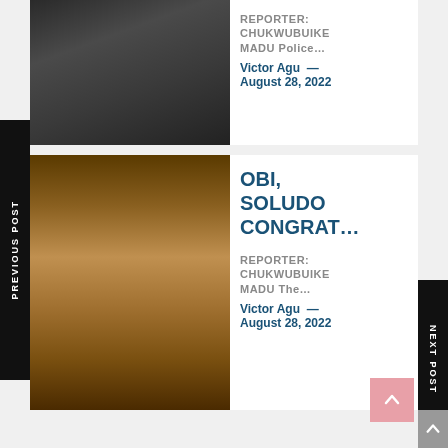[Figure (photo): Police officer in black uniform with badges and medals]
REPORTER: CHUKWUBUIKE MADU Police...
Victor Agu — August 28, 2022
[Figure (photo): Two men posing together — one in dark attire, one wearing red cardinal robes and hat]
OBI, SOLUDO CONGRAT…
REPORTER: CHUKWUBUIKE MADU The...
Victor Agu — August 28, 2022